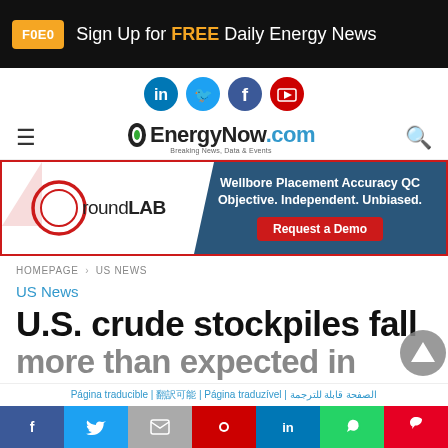[Figure (screenshot): Top black banner with orange FOEO button and 'Sign Up for FREE Daily Energy News' text]
[Figure (logo): Social media icons row: LinkedIn, Twitter, Facebook, YouTube]
[Figure (logo): EnergyNow.com navigation bar with hamburger menu, logo, and search icon]
[Figure (screenshot): roundLAB advertisement banner: Wellbore Placement Accuracy QC - Objective. Independent. Unbiased. Request a Demo]
HOMEPAGE > US NEWS
US News
U.S. crude stockpiles fall more than expected in